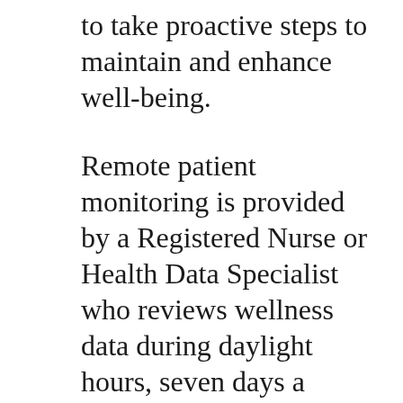to take proactive steps to maintain and enhance well-being.
Remote patient monitoring is provided by a Registered Nurse or Health Data Specialist who reviews wellness data during daylight hours, seven days a week. The Wellspring@Home service “learns” a patient’s daily health pattern including medication